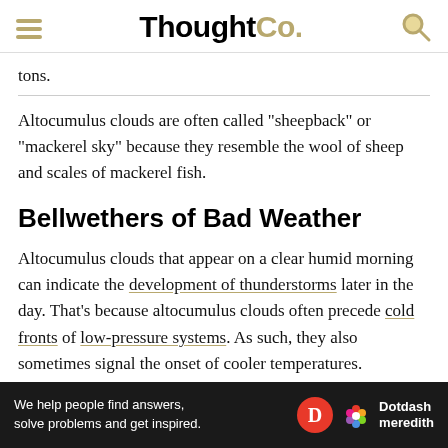ThoughtCo.
tons.
Altocumulus clouds are often called "sheepback" or "mackerel sky" because they resemble the wool of sheep and scales of mackerel fish.
Bellwethers of Bad Weather
Altocumulus clouds that appear on a clear humid morning can indicate the development of thunderstorms later in the day. That's because altocumulus clouds often precede cold fronts of low-pressure systems. As such, they also sometimes signal the onset of cooler temperatures.
While they are not clouds from which precipitation falls, thei
[Figure (other): Dotdash Meredith advertisement banner with text: We help people find answers, solve problems and get inspired.]